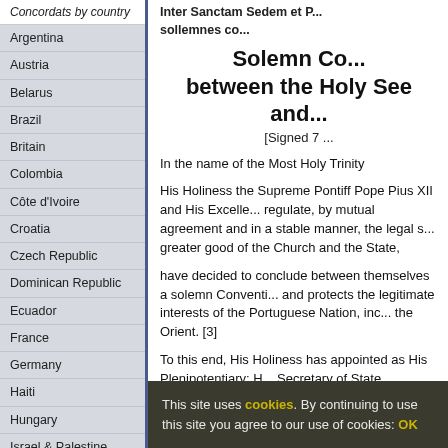Concordats by country
Argentina
Austria
Belarus
Brazil
Britain
Colombia
Côte d'Ivoire
Croatia
Czech Republic
Dominican Republic
Ecuador
France
Germany
Haiti
Hungary
Israel & Palestine
Italy
Malta
Netherlands - Belgium - Luxembourg
Inter Sanctam Sedem et P... sollemnes co...
Solemn Co... between the Holy See and...
[Signed 7 ...
In the name of the Most Holy Trinity
His Holiness the Supreme Pontiff Pope Pius XII and His Excelle... regulate, by mutual agreement and in a stable manner, the legal s... greater good of the Church and the State,
have decided to conclude between themselves a solemn Conventi... and protects the legitimate interests of the Portuguese Nation, inc... the Orient. [3]
To this end, His Holiness has appointed as His Plenipotentiary: H... Secretary of State,
and the President of the Portuguese Republic has appointed as Hi...
His Excellency, General Eduardo Augusto Marques, former Colo... Cross of the Military Order of Christ, Military Order of Christ, O...
His Excellency, Dr. Mario de Figueiredo, former Minister for Jus... Law of the University of Coimbra, Member of Parliament and Gr...
His Excellency... Cross of the M... Cr...
This site uses cookies. By continuing to use this site you agree to our use of cookies: OK